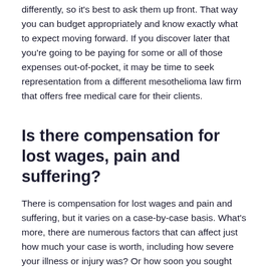differently, so it's best to ask them up front. That way you can budget appropriately and know exactly what to expect moving forward. If you discover later that you're going to be paying for some or all of those expenses out-of-pocket, it may be time to seek representation from a different mesothelioma law firm that offers free medical care for their clients.
Is there compensation for lost wages, pain and suffering?
There is compensation for lost wages and pain and suffering, but it varies on a case-by-case basis. What's more, there are numerous factors that can affect just how much your case is worth, including how severe your illness or injury was? Or how soon you sought treatment after your exposure to asbestos (or other causes). Whether or not you were exposed to asbestos while on duty in an occupational setting (for example: through military service). The importance of choosing the right